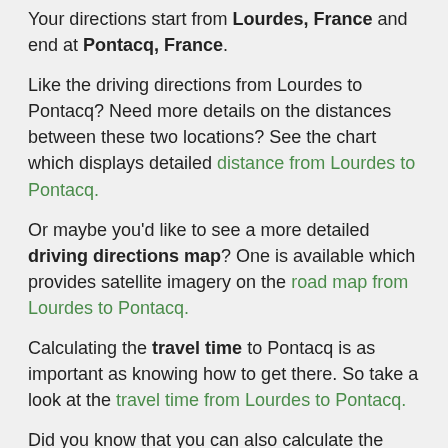Your directions start from Lourdes, France and end at Pontacq, France.
Like the driving directions from Lourdes to Pontacq? Need more details on the distances between these two locations? See the chart which displays detailed distance from Lourdes to Pontacq.
Or maybe you'd like to see a more detailed driving directions map? One is available which provides satellite imagery on the road map from Lourdes to Pontacq.
Calculating the travel time to Pontacq is as important as knowing how to get there. So take a look at the travel time from Lourdes to Pontacq.
Did you know that you can also calculate the time it takes to fly to Pontacq? Take a look at the flight time from Lourdes to Pontacq.
While flying may be quicker, it's always more cost efficient to drive to your destination so you may want to